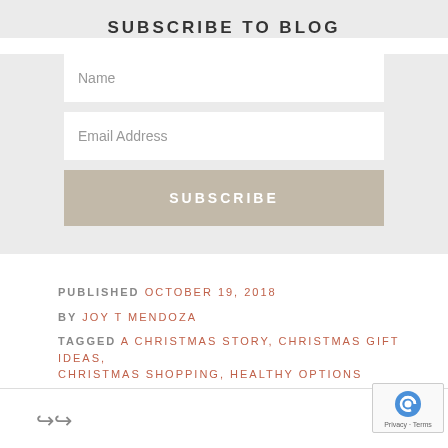SUBSCRIBE TO BLOG
Name
Email Address
SUBSCRIBE
PUBLISHED OCTOBER 19, 2018
BY JOY T MENDOZA
TAGGED A CHRISTMAS STORY, CHRISTMAS GIFT IDEAS, CHRISTMAS SHOPPING, HEALTHY OPTIONS